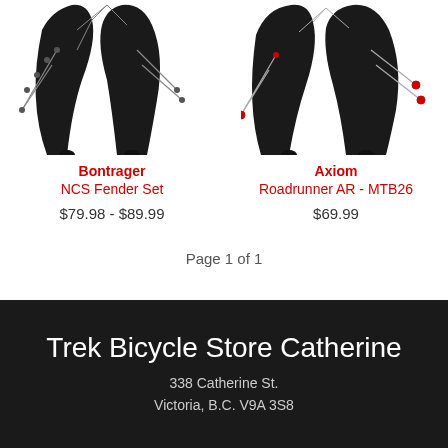[Figure (photo): Product image of Bontrager NCS Fender Set - black bicycle fenders with mounting hardware]
[Figure (photo): Product image of Axiom Roadrunner AR - MTB26 - black bicycle fenders with red accents and mounting hardware]
Bontrager
NCS Fender Set
$79.98 - $89.99
Axiom
Roadrunner AR - MTB26
$69.99
Page 1 of 1
Trek Bicycle Store Catherine
338 Catherine St.
Victoria, B.C. V9A 3S8